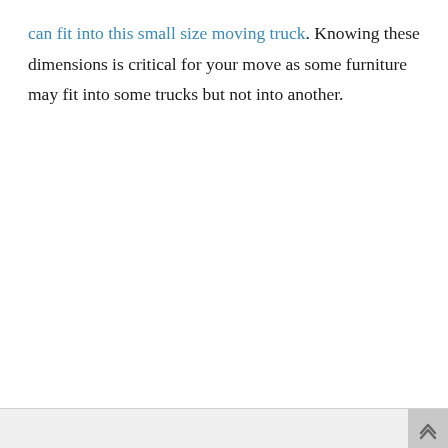can fit into this small size moving truck. Knowing these dimensions is critical for your move as some furniture may fit into some trucks but not into another.